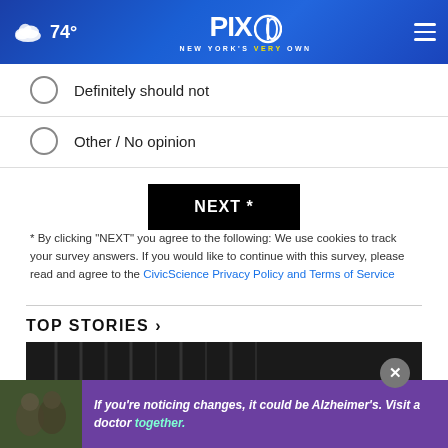74° PIX11 NEW YORK'S VERY OWN
Definitely should not
Other / No opinion
NEXT *
* By clicking "NEXT" you agree to the following: We use cookies to track your survey answers. If you would like to continue with this survey, please read and agree to the CivicScience Privacy Policy and Terms of Service
TOP STORIES ›
[Figure (photo): Dark image of what appears to be a fence or gate, used as background for Top Stories section]
[Figure (photo): Advertisement banner: two men outdoors, purple background with text 'If you're noticing changes, it could be Alzheimer's. Visit a doctor together.']